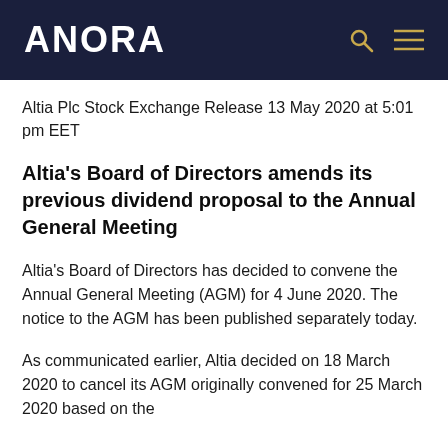ANORA
Altia Plc Stock Exchange Release 13 May 2020 at 5:01 pm EET
Altia's Board of Directors amends its previous dividend proposal to the Annual General Meeting
Altia's Board of Directors has decided to convene the Annual General Meeting (AGM) for 4 June 2020. The notice to the AGM has been published separately today.
As communicated earlier, Altia decided on 18 March 2020 to cancel its AGM originally convened for 25 March 2020 based on the